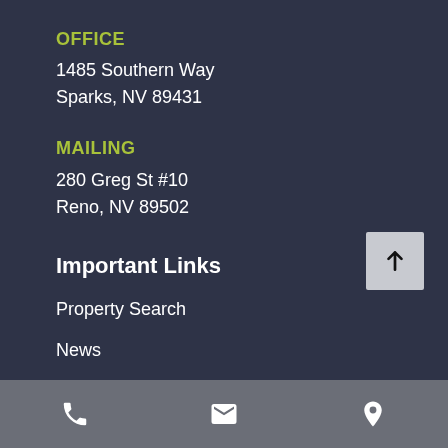OFFICE
1485 Southern Way
Sparks, NV 89431
MAILING
280 Greg St #10
Reno, NV 89502
Important Links
Property Search
News
Services
Resources
Northern Nevada Propert...
[phone icon] [email icon] [location icon]